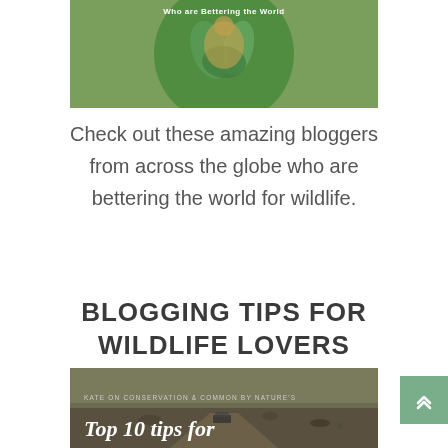[Figure (illustration): Partial view of a circular green illustrated logo/badge on a green background with text 'Who are Bettering the World' visible at the top]
Check out these amazing bloggers from across the globe who are bettering the world for wildlife.
BLOGGING TIPS FOR WILDLIFE LOVERS
[Figure (photo): Aerial/landscape photograph of a dry, arid terrain with a vehicle on a dirt road. Overlaid text reads 'KATE ON CONSERVATION & COMMON BY NATURE'S' and 'Top 10 tips for' in large white italic font.]